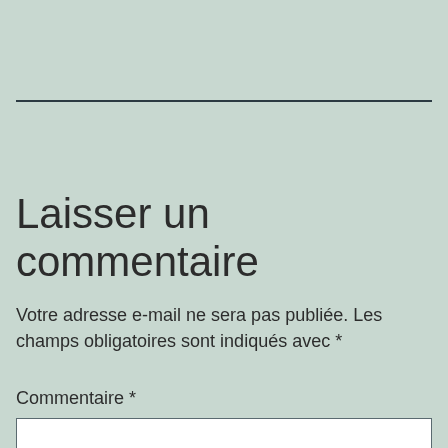Laisser un commentaire
Votre adresse e-mail ne sera pas publiée. Les champs obligatoires sont indiqués avec *
Commentaire *